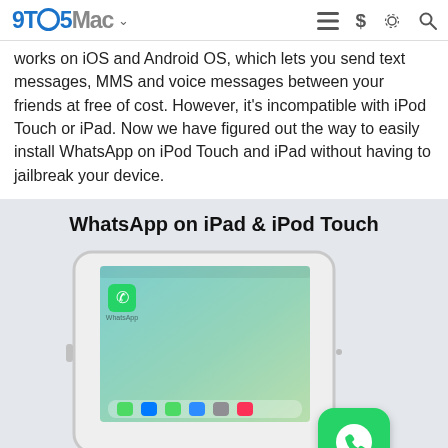9TO5Mac
works on iOS and Android OS, which lets you send text messages, MMS and voice messages between your friends at free of cost. However, it's incompatible with iPod Touch or iPad. Now we have figured out the way to easily install WhatsApp on iPod Touch and iPad without having to jailbreak your device.
[Figure (illustration): Illustration of an iPad showing WhatsApp installed on its home screen, with a large WhatsApp icon in the lower right corner overlapping the device. Title reads: WhatsApp on iPad & iPod Touch]